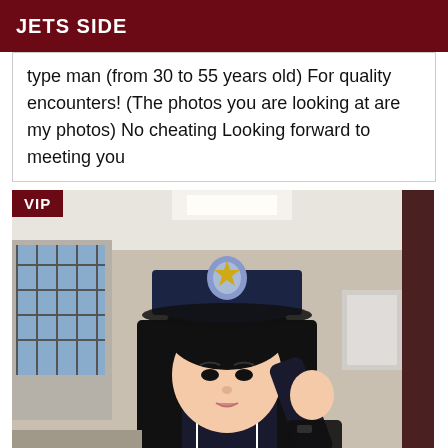JETS SIDE
type man (from 30 to 55 years old) For quality encounters! (The photos you are looking at are my photos) No cheating Looking forward to meeting you
[Figure (photo): Young woman wearing a police-style cap and dark uniform, posing indoors with hand raised near her cap. A 'VIP' badge is overlaid in the top-left corner.]